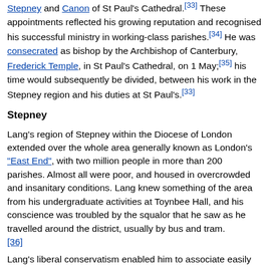Stepney and Canon of St Paul's Cathedral.[33] These appointments reflected his growing reputation and recognised his successful ministry in working-class parishes.[34] He was consecrated as bishop by the Archbishop of Canterbury, Frederick Temple, in St Paul's Cathedral, on 1 May;[35] his time would subsequently be divided, between his work in the Stepney region and his duties at St Paul's.[33]
Stepney
Lang's region of Stepney within the Diocese of London extended over the whole area generally known as London's "East End", with two million people in more than 200 parishes. Almost all were poor, and housed in overcrowded and insanitary conditions. Lang knew something of the area from his undergraduate activities at Toynbee Hall, and his conscience was troubled by the squalor that he saw as he travelled around the district, usually by bus and tram.[36]
Lang's liberal conservatism enabled him to associate easily with Socialist leaders such as Will Crooks and George